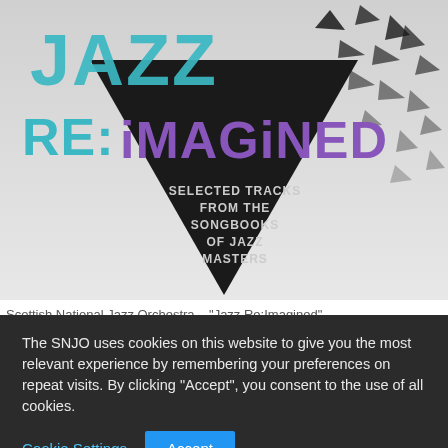[Figure (illustration): Album cover for 'Jazz Re: Imagined' by Scottish National Jazz Orchestra. Features bold teal text 'JAZZ' at top, purple bold text 'RE: iMAGiNED', a black triangle/arrow pointing down with scattered geometric fragments, gray background, and text 'SELECTED TRACKS FROM THE SONGBOOKS OF JAZZ MASTERS'.]
Scottish National Jazz Orchestra – "Jazz Re:Imagined"
The SNJO uses cookies on this website to give you the most relevant experience by remembering your preferences on repeat visits. By clicking “Accept”, you consent to the use of all cookies.
Cookie Settings
Accept